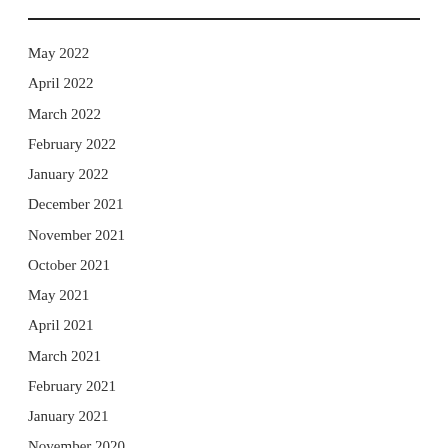May 2022
April 2022
March 2022
February 2022
January 2022
December 2021
November 2021
October 2021
May 2021
April 2021
March 2021
February 2021
January 2021
November 2020